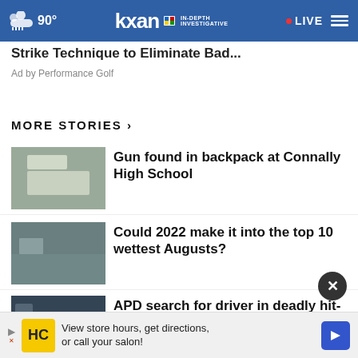90° | KXAN IN-DEPTH INVESTIGATIVE | LIVE
Strike Technique to Eliminate Bad...
Ad by Performance Golf
MORE STORIES ›
Gun found in backpack at Connally High School
Could 2022 make it into the top 10 wettest Augusts?
APD search for driver in deadly hit-and-run
Pflugerville ISD still looking fo...
View store hours, get directions, or call your salon!